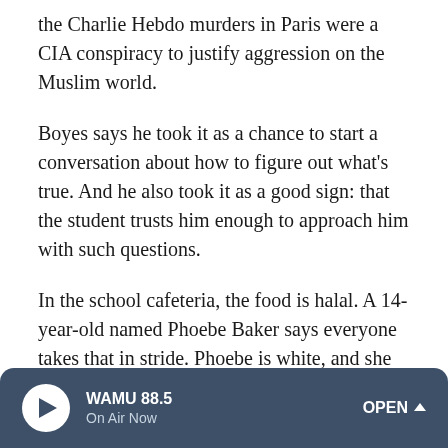the Charlie Hebdo murders in Paris were a CIA conspiracy to justify aggression on the Muslim world.
Boyes says he took it as a chance to start a conversation about how to figure out what's true. And he also took it as a good sign: that the student trusts him enough to approach him with such questions.
In the school cafeteria, the food is halal. A 14-year-old named Phoebe Baker says everyone takes that in stride. Phoebe is white, and she has experiences at school that just don't happen at home — for example, during Ramadan, when Muslims fast during the day.
Although you can see kids mixing happily at this school, the
WAMU 88.5 On Air Now OPEN